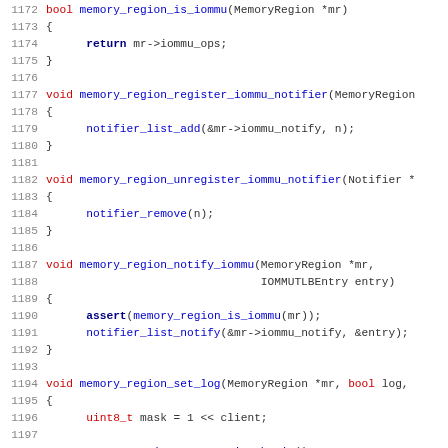Source code listing showing C functions: memory_region_is_iommu, memory_region_register_iommu_notifier, memory_region_unregister_iommu_notifier, memory_region_notify_iommu, memory_region_set_log. Lines 1172-1203.